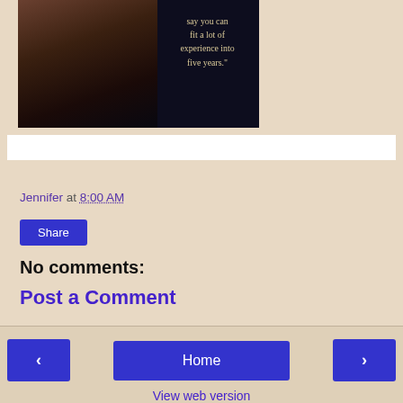[Figure (photo): Dark romantic book cover image with a person and overlaid quote text: 'say you can fit a lot of experience into five years.']
Jennifer at 8:00 AM
Share
No comments:
Post a Comment
Home | View web version | Powered by Blogger.